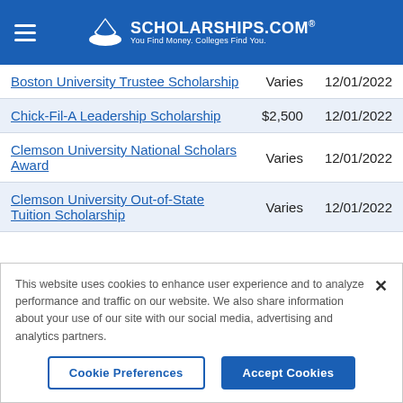SCHOLARSHIPS.COM® — You Find Money. Colleges Find You.
| Scholarship | Amount | Deadline |
| --- | --- | --- |
| Boston University Trustee Scholarship | Varies | 12/01/2022 |
| Chick-Fil-A Leadership Scholarship | $2,500 | 12/01/2022 |
| Clemson University National Scholars Award | Varies | 12/01/2022 |
| Clemson University Out-of-State Tuition Scholarship | Varies | 12/01/2022 |
This website uses cookies to enhance user experience and to analyze performance and traffic on our website. We also share information about your use of our site with our social media, advertising and analytics partners.
Cookie Preferences | Accept Cookies